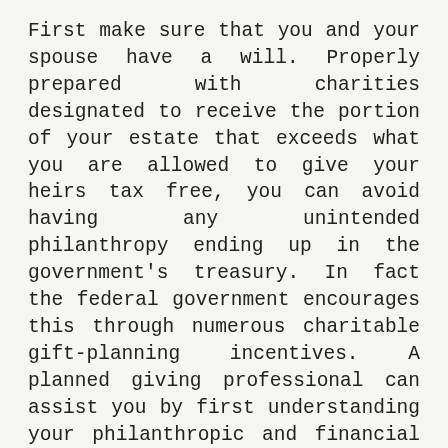First make sure that you and your spouse have a will. Properly prepared with charities designated to receive the portion of your estate that exceeds what you are allowed to give your heirs tax free, you can avoid having any unintended philanthropy ending up in the government's treasury. In fact the federal government encourages this through numerous charitable gift-planning incentives. A planned giving professional can assist you by first understanding your philanthropic and financial priorities and then explaining a variety of charitable giving concepts that make sense for you and your family.
Many people are unaware that they own what I call “good” assets as well as “bad” assets. “Good” assets are stocks, bonds, and real estate